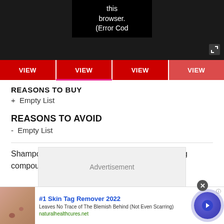[Figure (screenshot): Video player error overlay showing text 'this browser. (Error Cod' on black background, with expand icon at top right]
[Figure (screenshot): Row of four red VIEW buttons across the top of the content area]
REASONS TO BUY
+  Empty List
REASONS TO AVOID
-  Empty List
Shampoo, conditioner and Sumo Tech hair-styling compound. £32.95, buy on amazon.co.uk
[Figure (screenshot): Advertisement placeholder box labeled 'Advertisement']
[Figure (screenshot): Bottom banner ad: #1 Skin Tag Remover 2022, Leaves No Trace of The Blemish Behind (Not Even Scarring), naturalhealthcures.net, with skin image and blue circle arrow button]